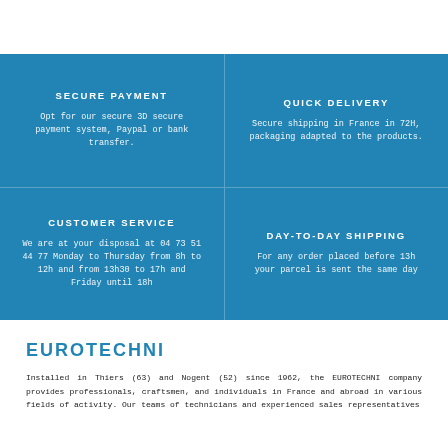SECURE PAYMENT
Opt for our secure 3D secure payment system, Paypal or bank transfer.
QUICK DELIVERY
Secure shipping in France in 72H, packaging adapted to the products.
CUSTOMER SERVICE
We are at your disposal at 04 73 51 44 77 Monday to Thursday from 8h to 12h and from 13h30 to 17h and Friday until 18h
DAY-TO-DAY SHIPPING
For any order placed before 13h your parcel is sent the same day
EUROTECHNI
Installed in Thiers (63) and Nogent (52) since 1962, the EUROTECHNI company provides professionals, craftsmen, and individuals in France and abroad in various fields of activity. Our teams of technicians and experienced sales representatives